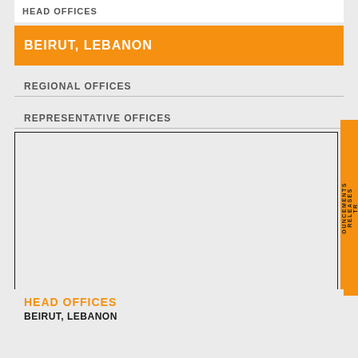HEAD OFFICES
BEIRUT, LEBANON
REGIONAL OFFICES
REPRESENTATIVE OFFICES
[Figure (other): Empty outlined rectangle content area with orange side tab labeled TRELEASES OUNCEMENTS]
HEAD OFFICES
BEIRUT, LEBANON